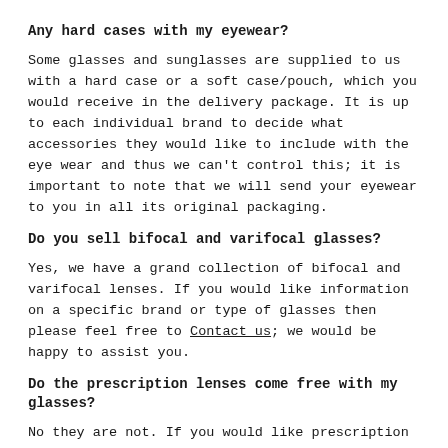Any hard cases with my eyewear?
Some glasses and sunglasses are supplied to us with a hard case or a soft case/pouch, which you would receive in the delivery package. It is up to each individual brand to decide what accessories they would like to include with the eye wear and thus we can't control this; it is important to note that we will send your eyewear to you in all its original packaging.
Do you sell bifocal and varifocal glasses?
Yes, we have a grand collection of bifocal and varifocal lenses. If you would like information on a specific brand or type of glasses then please feel free to Contact us; we would be happy to assist you.
Do the prescription lenses come free with my glasses?
No they are not. If you would like prescription lenses for your